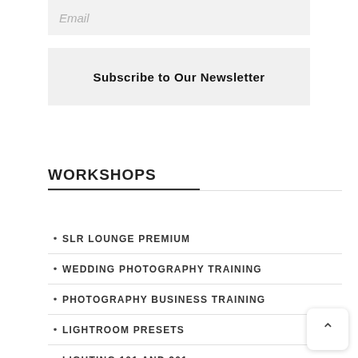Email
Subscribe to Our Newsletter
WORKSHOPS
SLR LOUNGE PREMIUM
WEDDING PHOTOGRAPHY TRAINING
PHOTOGRAPHY BUSINESS TRAINING
LIGHTROOM PRESETS
LIGHTING 101 AND 201
HEADSHOT PHOTOGRAPHY